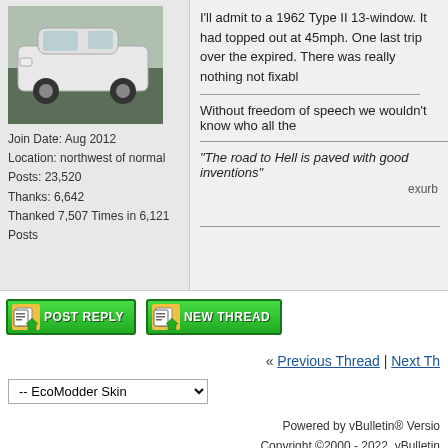[Figure (photo): White hatchback car parked outdoors]
Join Date: Aug 2012
Location: northwest of normal
Posts: 23,520
Thanks: 6,642
Thanked 7,507 Times in 6,121 Posts
I'll admit to a 1962 Type II 13-window. It had topped out at 45mph. One last trip over the expired. There was really nothing not fixabl
Without freedom of speech we wouldn't know who all the
"The road to Hell is paved with good inventions"
exurb
[Figure (screenshot): POST REPLY button - green button with icon]
[Figure (screenshot): NEW THREAD button - green button with icon]
« Previous Thread | Next Th
-- EcoModder Skin
Powered by vBulletin® Versio
Copyright ©2000 - 2022, vBulletin
Content Relevant URLs by vBS
All content copyright EcoMod